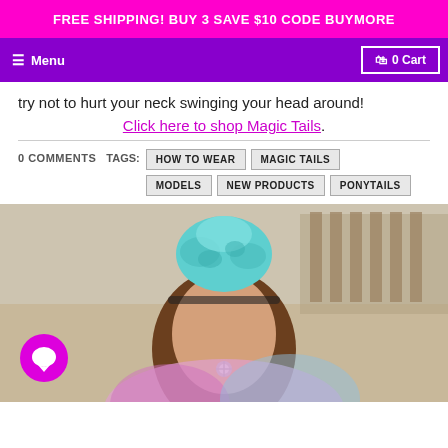FREE SHIPPING! BUY 3 SAVE $10 CODE BUYMORE
Menu   0 Cart
try not to hurt your neck swinging your head around!
Click here to shop Magic Tails.
0 COMMENTS
TAGS: HOW TO WEAR   MAGIC TAILS   MODELS   NEW PRODUCTS   PONYTAILS
[Figure (photo): Photo of a person with teal/turquoise hair bun on top of their head, brown hair flowing down, wearing colorful clothing, viewed from front. A magenta circular chat icon is visible in the lower left.]